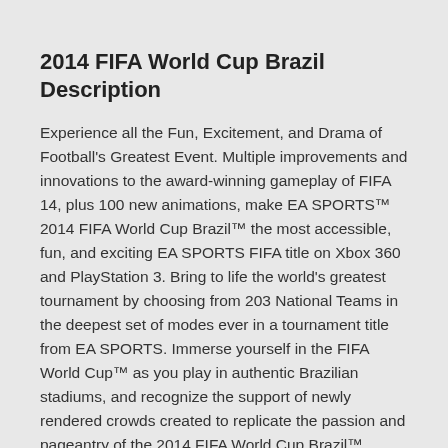2014 FIFA World Cup Brazil Description
Experience all the Fun, Excitement, and Drama of Football's Greatest Event. Multiple improvements and innovations to the award-winning gameplay of FIFA 14, plus 100 new animations, make EA SPORTS™ 2014 FIFA World Cup Brazil™ the most accessible, fun, and exciting EA SPORTS FIFA title on Xbox 360 and PlayStation 3. Bring to life the world's greatest tournament by choosing from 203 National Teams in the deepest set of modes ever in a tournament title from EA SPORTS. Immerse yourself in the FIFA World Cup™ as you play in authentic Brazilian stadiums, and recognize the support of newly rendered crowds created to replicate the passion and pageantry of the 2014 FIFA World Cup Brazil™.